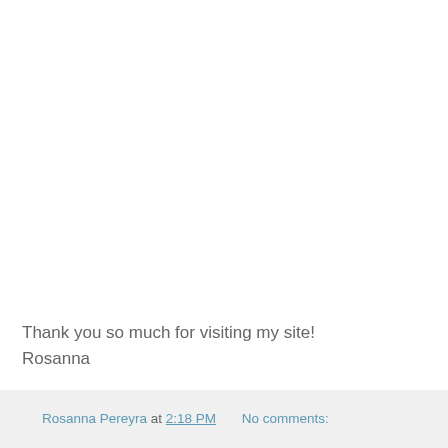Thank you so much for visiting my site!
Rosanna
Rosanna Pereyra at 2:18 PM    No comments: